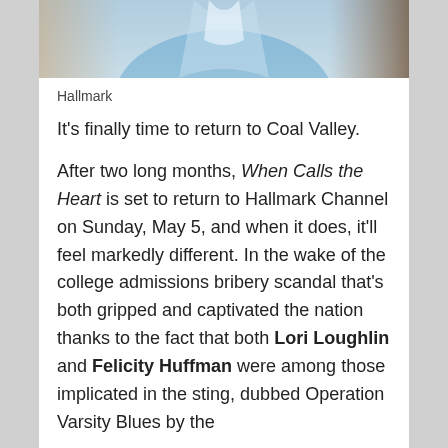[Figure (photo): Cropped bottom portion of a person wearing a light blue coat or jacket, photographed outdoors.]
Hallmark
It’s finally time to return to Coal Valley.
After two long months, When Calls the Heart is set to return to Hallmark Channel on Sunday, May 5, and when it does, it’ll feel markedly different. In the wake of the college admissions bribery scandal that’s both gripped and captivated the nation thanks to the fact that both Lori Loughlin and Felicity Huffman were among those implicated in the sting, dubbed Operation Varsity Blues by the